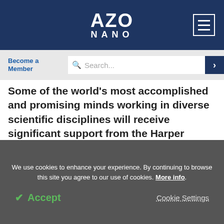AZO NANO
Become a Member
Search...
Some of the world's most accomplished and promising minds working in diverse scientific disciplines will receive significant support from the Harper Government, through the Canada Research Chairs program, to pursue world-class research at post-secondary institutions across Canada.
We use cookies to enhance your experience. By continuing to browse this site you agree to our use of cookies. More info.
✓ Accept
Cookie Settings